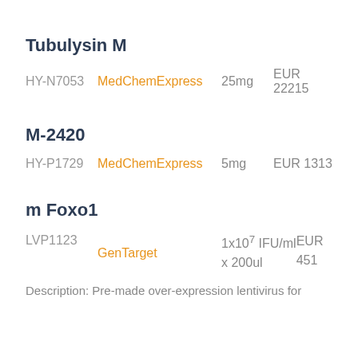Tubulysin M
HY-N7053  MedChemExpress  25mg  EUR 22215
M-2420
HY-P1729  MedChemExpress  5mg  EUR 1313
m Foxo1
LVP1123  GenTarget  1x107 IFU/ml x 200ul  EUR 451
Description: Pre-made over-expression lentivirus for